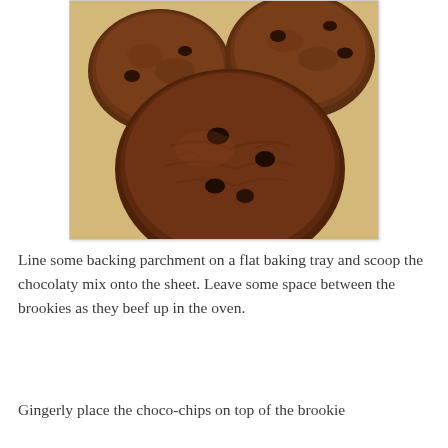[Figure (photo): Close-up photo of dark chocolate cookies with chocolate chips on a light yellow/beige surface]
Line some backing parchment on a flat baking tray and scoop the chocolaty mix onto the sheet. Leave some space between the brookies as they beef up in the oven.
Gingerly place the choco-chips on top of the brookie and it will set in the oven. Each batch takes 8-10...